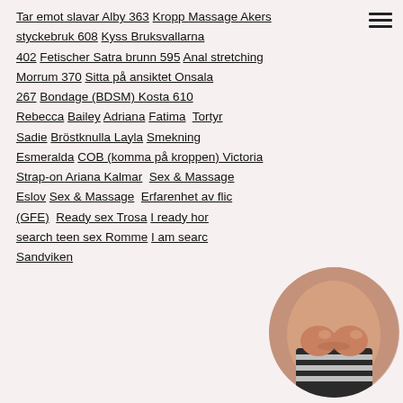Tar emot slavar Alby 363 Kropp Massage Akers styckebruk 608 Kyss Bruksvallarna 402 Fetischer Satra brunn 595 Anal stretching Morrum 370 Sitta på ansiktet Onsala 267 Bondage (BDSM) Kosta 610 Rebecca Bailey Adriana Fatima Tortyr Sadie Bröstknulla Layla Smekning Esmeralda COB (komma på kroppen) Victoria Strap-on Ariana Kalmar Sex & Massage Eslov Sex & Massage Erfarenhet av flickvän (GFE) Ready sex Trosa I ready horny search teen sex Romme I am search Sandviken
[Figure (photo): Circular cropped photo of a person's torso]